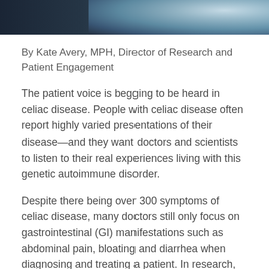[Figure (photo): Dark banner image at top of page showing a partial background photo with blue-gray tones, likely a medical or abstract image]
By Kate Avery, MPH, Director of Research and Patient Engagement
The patient voice is begging to be heard in celiac disease. People with celiac disease often report highly varied presentations of their disease—and they want doctors and scientists to listen to their real experiences living with this genetic autoimmune disorder.
Despite there being over 300 symptoms of celiac disease, many doctors still only focus on gastrointestinal (GI) manifestations such as abdominal pain, bloating and diarrhea when diagnosing and treating a patient. In research, it's often the same, with GI symptoms getting